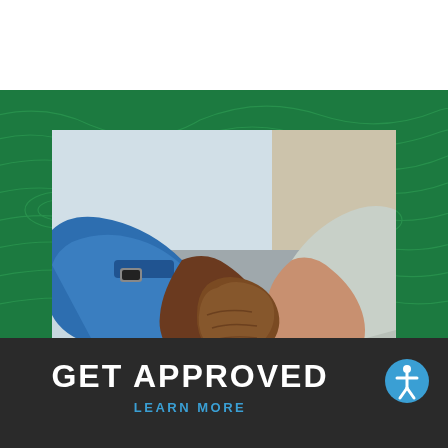[Figure (photo): Two people shaking hands in a business setting — one wearing a blue shirt sleeve, the other a light/white shirt sleeve, photographed close-up with blurred background]
GET APPROVED
LEARN MORE